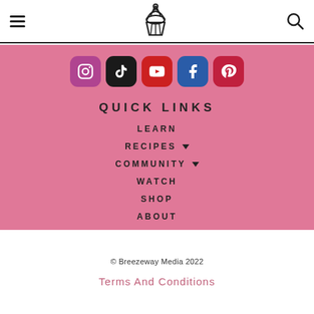Navigation header with hamburger menu, cupcake logo, and search icon
[Figure (logo): Cupcake logo SVG icon in center of header]
[Figure (infographic): Row of social media icons: Instagram (pink-purple), TikTok (black), YouTube (red), Facebook (blue), Pinterest (red)]
QUICK LINKS
LEARN
RECIPES
COMMUNITY
WATCH
SHOP
ABOUT
© Breezeway Media 2022
Terms And Conditions